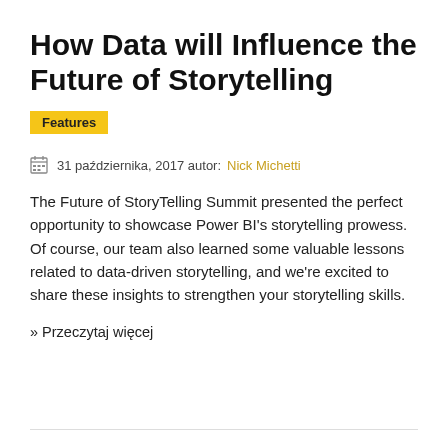How Data will Influence the Future of Storytelling
Features
31 października, 2017 autor: Nick Michetti
The Future of StoryTelling Summit presented the perfect opportunity to showcase Power BI's storytelling prowess. Of course, our team also learned some valuable lessons related to data-driven storytelling, and we're excited to share these insights to strengthen your storytelling skills.
» Przeczytaj więcej